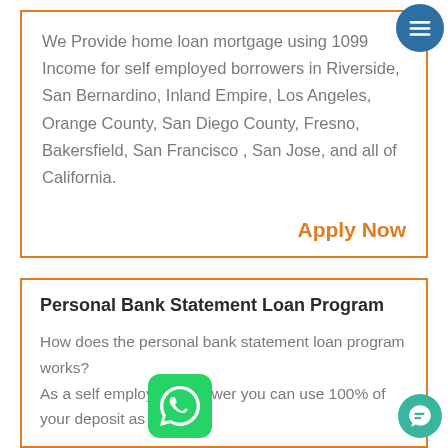We Provide home loan mortgage using 1099 Income for self employed borrowers in Riverside, San Bernardino, Inland Empire, Los Angeles, Orange County, San Diego County, Fresno, Bakersfield, San Francisco , San Jose, and all of California.
Apply Now
Personal Bank Statement Loan Program
How does the personal bank statement loan program works? As a self employed borrower you can use 100% of your deposit as income